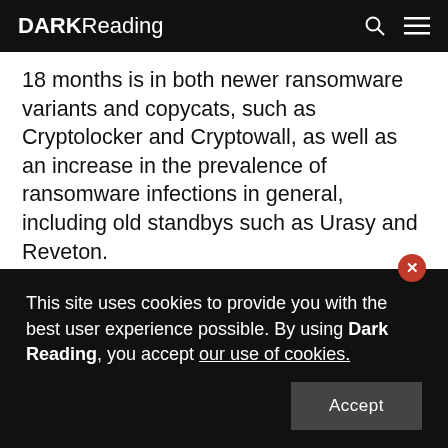DARK Reading
18 months is in both newer ransomware variants and copycats, such as Cryptolocker and Cryptowall, as well as an increase in the prevalence of ransomware infections in general, including old standbys such as Urasy and Reveton.
Kovter in particular has shown sharp growth this year. Kovter is a screenlocker or systemlocker, rather than a file encrypter like Cryptowall. It masquerades as being from law enforcement authorities and threatens police
This site uses cookies to provide you with the best user experience possible. By using Dark Reading, you accept our use of cookies.